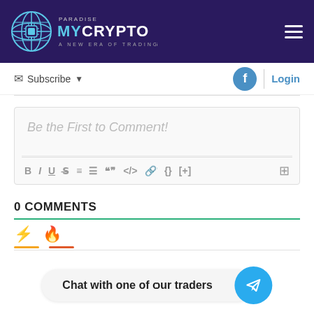[Figure (logo): MyCrypto Paradise logo with globe icon and tagline 'A New Era of Trading']
Subscribe ▼
Login
Be the First to Comment!
0 COMMENTS
Chat with one of our traders